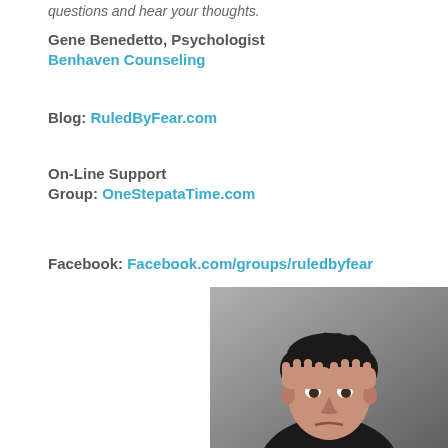questions and hear your thoughts.
Gene Benedetto, Psychologist
Benhaven Counseling
Blog: RuledByFear.com
On-Line Support
Group: OneStepataTime.com
Facebook: Facebook.com/groups/ruledbyfear
[Figure (photo): A man with dark hair wearing a black shirt, holding his hands on his forehead with a stressed or worried expression, photographed against a gray background.]